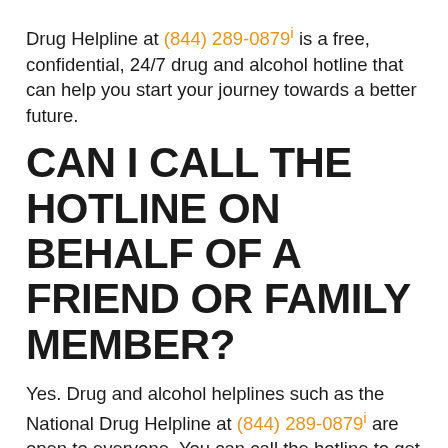Drug Helpline at (844) 289-0879i is a free, confidential, 24/7 drug and alcohol hotline that can help you start your journey towards a better future.
CAN I CALL THE HOTLINE ON BEHALF OF A FRIEND OR FAMILY MEMBER?
Yes. Drug and alcohol helplines such as the National Drug Helpline at (844) 289-0879i are open to everyone. You can call the hotline to get information for yourself or a friend or family member.